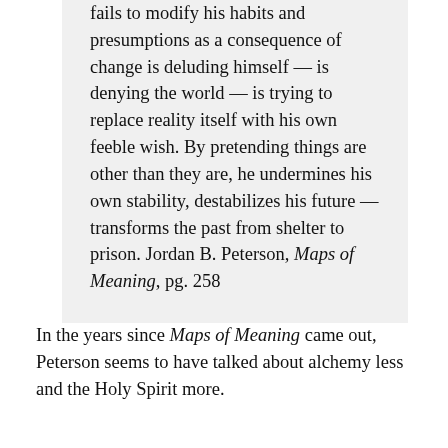fails to modify his habits and presumptions as a consequence of change is deluding himself — is denying the world — is trying to replace reality itself with his own feeble wish. By pretending things are other than they are, he undermines his own stability, destabilizes his future — transforms the past from shelter to prison. Jordan B. Peterson, Maps of Meaning, pg. 258
In the years since Maps of Meaning came out, Peterson seems to have talked about alchemy less and the Holy Spirit more.